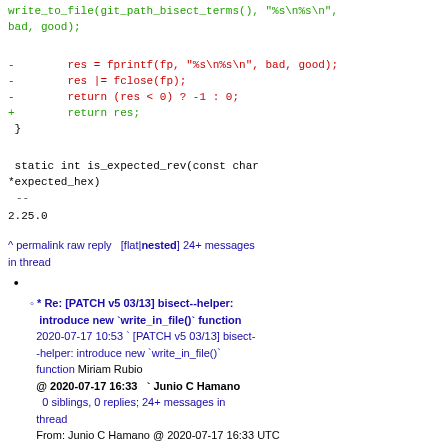write_to_file(git_path_bisect_terms(), "%s\n%s\n",
bad, good);
-        res = fprintf(fp, "%s\n%s\n", bad, good);
-        res |= fclose(fp);
-        return (res < 0) ? -1 : 0;
+        return res;
 }
static int is_expected_rev(const char
*expected_hex)
--
2.25.0
^ permalink raw reply   [flat|nested] 24+ messages in thread
* Re: [PATCH v5 03/13] bisect--helper: introduce new `write_in_file()` function
2020-07-17 10:53 ` [PATCH v5 03/13] bisect--helper: introduce new `write_in_file()` function Miriam Rubio
@ 2020-07-17 16:33   ` Junio C Hamano
  0 siblings, 0 replies; 24+ messages in thread
From: Junio C Hamano @ 2020-07-17 16:33 UTC (permalink / raw)
To: Miriam Rubio; +Cc: git, Christian